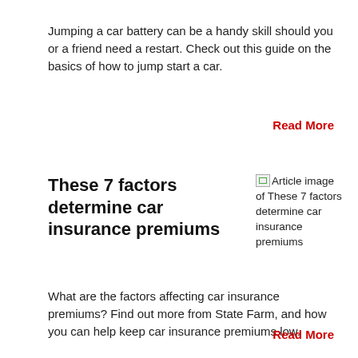Jumping a car battery can be a handy skill should you or a friend need a restart. Check out this guide on the basics of how to jump start a car.
Read More
These 7 factors determine car insurance premiums
[Figure (illustration): Broken image placeholder: Article image of These 7 factors determine car insurance premiums]
What are the factors affecting car insurance premiums? Find out more from State Farm, and how you can help keep car insurance premiums low.
Read More